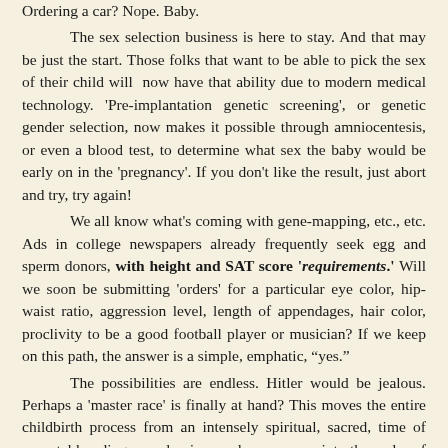Ordering a car? Nope. Baby.
The sex selection business is here to stay. And that may be just the start. Those folks that want to be able to pick the sex of their child will now have that ability due to modern medical technology. 'Pre-implantation genetic screening', or genetic gender selection, now makes it possible through amniocentesis, or even a blood test, to determine what sex the baby would be early on in the 'pregnancy'. If you don't like the result, just abort and try, try again!
We all know what's coming with gene-mapping, etc., etc. Ads in college newspapers already frequently seek egg and sperm donors, with height and SAT score 'requirements.' Will we soon be submitting 'orders' for a particular eye color, hip-waist ratio, aggression level, length of appendages, hair color, proclivity to be a good football player or musician? If we keep on this path, the answer is a simple, emphatic, "yes."
The possibilities are endless. Hitler would be jealous. Perhaps a 'master race' is finally at hand? This moves the entire childbirth process from an intensely spiritual, sacred, time of parental bonding, wonder, joy- and yes, worry- into the realm of manufacturing and assembly.
What could possibly go wrong? "Does it come with a warranty? I want to return it." (Imagine I said it)